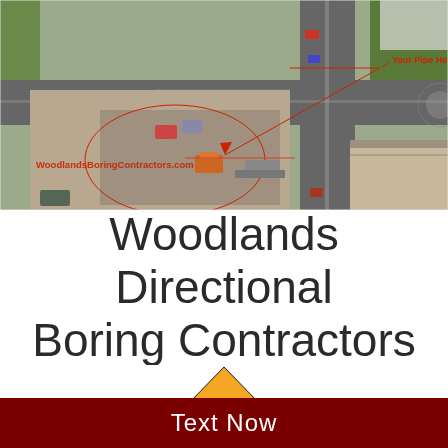[Figure (photo): Aerial drone photograph of a directional boring construction site at a road intersection. Red annotations show a coiled pipe layout at the job site with an arrow pointing to 'Your Pipe Here'. Red text watermark reads 'WoodlandsBoringContractors.com'.]
Woodlands Directional Boring Contractors
[Figure (illustration): Orange diamond-shaped construction warning sign, partially cropped at bottom of page, with black border outline.]
Text Now